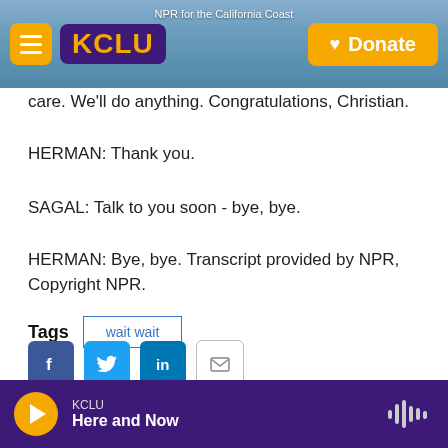KCLU — NPR for the California Coast
care. We'll do anything. Congratulations, Christian.
HERMAN: Thank you.
SAGAL: Talk to you soon - bye, bye.
HERMAN: Bye, bye. Transcript provided by NPR, Copyright NPR.
Tags   wait wait
KCLU — Here and Now